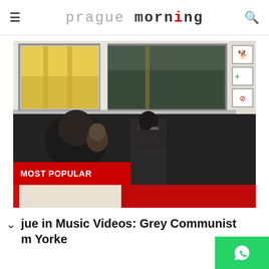prague morning
[Figure (photo): Two people standing outside a Prague public transit bus/tram, a man and a woman facing each other in conversation. The bus has large windows and various transit signage icons visible on the right side.]
MOST POPULAR
jue in Music Videos: Grey Communist
m Yorke